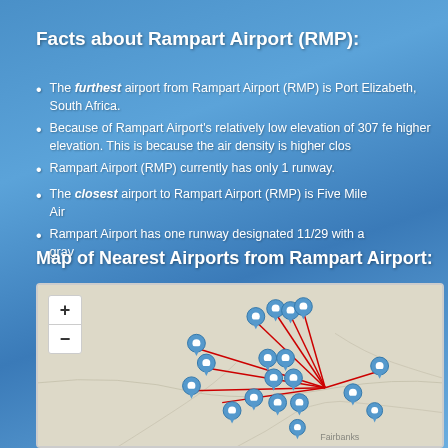Facts about Rampart Airport (RMP):
The furthest airport from Rampart Airport (RMP) is Port Elizabeth, South Africa.
Because of Rampart Airport's relatively low elevation of 307 feet, planes can carry more weight than at a higher elevation. This is because the air density is higher closer to sea level.
Rampart Airport (RMP) currently has only 1 runway.
The closest airport to Rampart Airport (RMP) is Five Mile Airport.
Rampart Airport has one runway designated 11/29 with a gravel surface.
Map of Nearest Airports from Rampart Airport:
[Figure (map): Map showing nearest airports from Rampart Airport with blue location pin markers and red lines radiating from a central point to surrounding airport locations. Map shows the Fairbanks, Alaska area. Includes zoom in/out controls.]